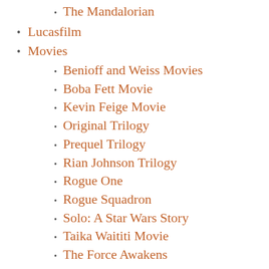The Mandalorian
Lucasfilm
Movies
Benioff and Weiss Movies
Boba Fett Movie
Kevin Feige Movie
Original Trilogy
Prequel Trilogy
Rian Johnson Trilogy
Rogue One
Rogue Squadron
Solo: A Star Wars Story
Taika Waititi Movie
The Force Awakens
The Last Jedi
The Rise of Skywalker
Music
Novels